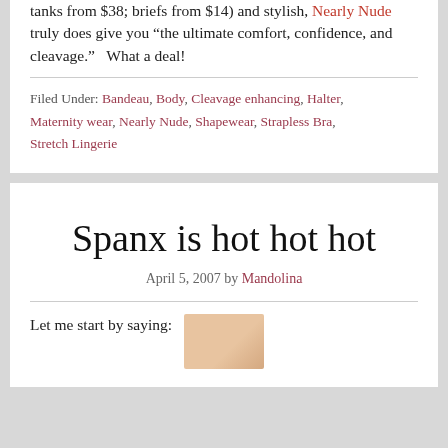tanks from $38; briefs from $14) and stylish, Nearly Nude truly does give you “the ultimate comfort, confidence, and cleavage.”  What a deal!
Filed Under: Bandeau, Body, Cleavage enhancing, Halter, Maternity wear, Nearly Nude, Shapewear, Strapless Bra, Stretch Lingerie
Spanx is hot hot hot
April 5, 2007 by Mandolina
Let me start by saying:
[Figure (photo): Thumbnail image of a flesh-toned undergarment product]